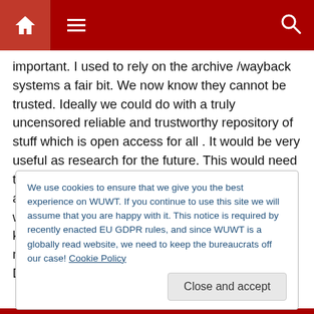Navigation bar with home, menu, and search icons
important. I used to rely on the archive /wayback systems a fair bit. We now know they cannot be trusted. Ideally we could do with a truly uncensored reliable and trustworthy repository of stuff which is open access for all . It would be very useful as research for the future. This would need to be done professionally, will need good security and backup not lest to be immune from some left wing activist who works in the data centre and knows which is our server. You will probably also need a full time IT specialist as its going to be DDoS attacked every single day!
We use cookies to ensure that we give you the best experience on WUWT. If you continue to use this site we will assume that you are happy with it. This notice is required by recently enacted EU GDPR rules, and since WUWT is a globally read website, we need to keep the bureaucrats off our case! Cookie Policy
Close and accept